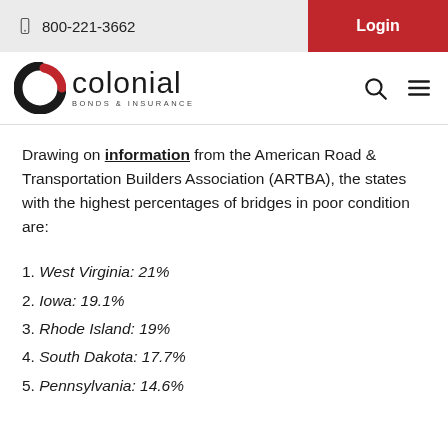800-221-3662   Login
[Figure (logo): Colonial Bonds & Insurance logo with stylized circular arrow icon in black and red]
Drawing on information from the American Road & Transportation Builders Association (ARTBA), the states with the highest percentages of bridges in poor condition are:
1. West Virginia: 21%
2. Iowa: 19.1%
3. Rhode Island: 19%
4. South Dakota: 17.7%
5. Pennsylvania: 14.6%